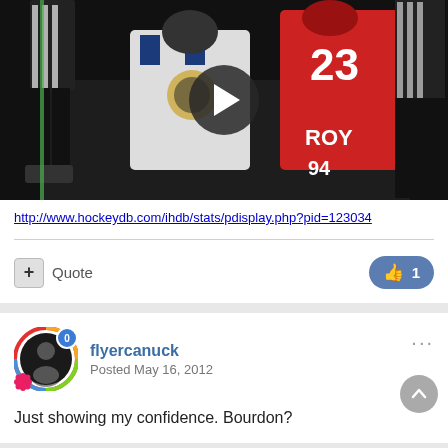[Figure (screenshot): Video thumbnail showing hockey fight scene with player wearing #23 red jersey labeled ROY, a player in white/blue jersey, and a referee. Dark background with play button overlay.]
http://www.hockeydb.com/ihdb/stats/pdisplay.php?pid=123034
+ Quote   👍 1
flyercanuck
Posted May 16, 2012
Just showing my confidence. Bourdon?